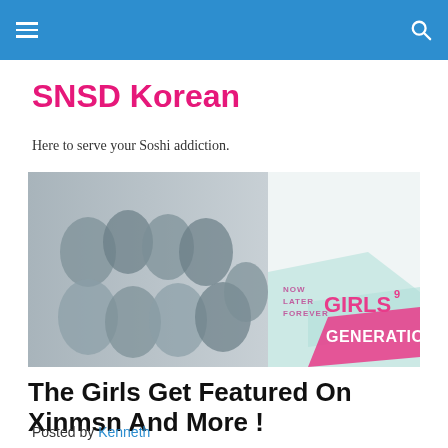[Navigation bar with hamburger menu and search icon]
SNSD Korean
Here to serve your Soshi addiction.
[Figure (photo): Group photo of Girls' Generation (SNSD) members posing together in navy/black caps and outfits, with a 'NOW LATER FOREVER GIRLS⁹ GENERATION' banner graphic overlay on the right side]
The Girls Get Featured On Xinmsn And More !
Posted by Kenneth